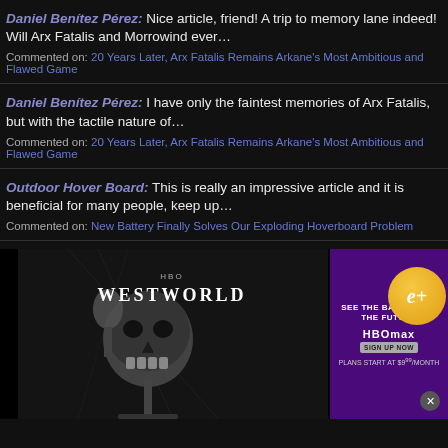Daniel Benítez Pérez: Nice article, friend! A trip to memory lane indeed! Will Arx Fatalis and Morrowind ever… Commented on: 20 Years Later, Arx Fatalis Remains Arkane's Most Ambitious and Flawed Game
Daniel Benítez Pérez: I have only the faintest memories of Arx Fatalis, but with the tactile nature of… Commented on: 20 Years Later, Arx Fatalis Remains Arkane's Most Ambitious and Flawed Game
Outdoor Hover Board: This is really an impressive article and it is beneficial for many people, keep up… Commented on: New Battery Finally Solves Our Exploding Hoverboard Problem
[Figure (advertisement): HBO Max Westworld TV show advertisement with skull imagery on dark background, purple panel on right with HBO Max logo and sign up button, gold e+ badge in top right corner]